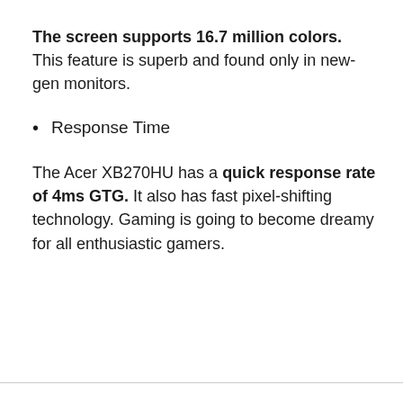The screen supports 16.7 million colors. This feature is superb and found only in new-gen monitors.
Response Time
The Acer XB270HU has a quick response rate of 4ms GTG. It also has fast pixel-shifting technology. Gaming is going to become dreamy for all enthusiastic gamers.